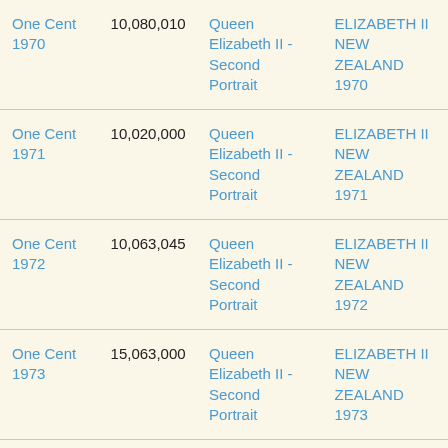| One Cent 1970 | 10,080,010 | Queen Elizabeth II - Second Portrait | ELIZABETH II NEW ZEALAND 1970 |
| One Cent 1971 | 10,020,000 | Queen Elizabeth II - Second Portrait | ELIZABETH II NEW ZEALAND 1971 |
| One Cent 1972 | 10,063,045 | Queen Elizabeth II - Second Portrait | ELIZABETH II NEW ZEALAND 1972 |
| One Cent 1973 | 15,063,000 | Queen Elizabeth II - Second Portrait | ELIZABETH II NEW ZEALAND 1973 |
| One Cent 1974 | 35,043,000 | Queen Elizabeth II - Second Portrait | ELIZABETH II NEW ZEALAND 1974 |